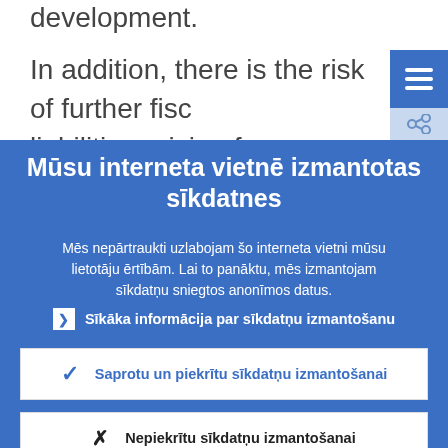development.
In addition, there is the risk of further fisc… liabilities arising from population ageing
Mūsu interneta vietnē izmantotas sīkdatnes
Mēs nepārtraukti uzlabojam šo interneta vietni mūsu lietotāju ērtībām. Lai to panāktu, mēs izmantojam sīkdatņu sniegtos anonīmos datus.
Sīkāka informācija par sīkdatņu izmantošanu
Saprotu un piekrītu sīkdatņu izmantošanai
Nepiekrītu sīkdatņu izmantošanai